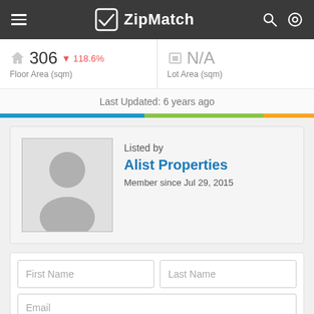ZipMatch
306 (▼118.6%) Floor Area (sqm)
N/A Lot Area (sqm)
Last Updated: 6 years ago
[Figure (other): Agent profile placeholder avatar image for Alist Properties]
Listed by
Alist Properties
Member since Jul 29, 2015
First Name
Last Name
Email
+63